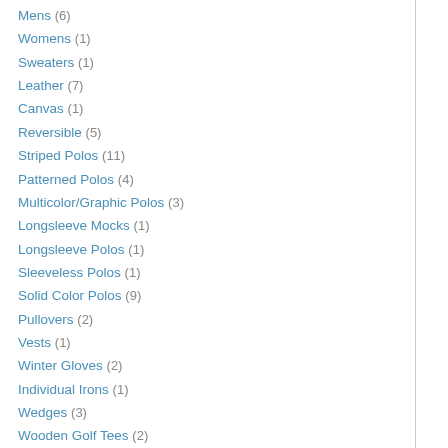Mens (6)
Womens (1)
Sweaters (1)
Leather (7)
Canvas (1)
Reversible (5)
Striped Polos (11)
Patterned Polos (4)
Multicolor/Graphic Polos (3)
Longsleeve Mocks (1)
Longsleeve Polos (1)
Sleeveless Polos (1)
Solid Color Polos (9)
Pullovers (2)
Vests (1)
Winter Gloves (2)
Individual Irons (1)
Wedges (3)
Wooden Golf Tees (2)
Plastic Golf Tees (2)
Spikeless (13)
Spikeless Shoes (5)